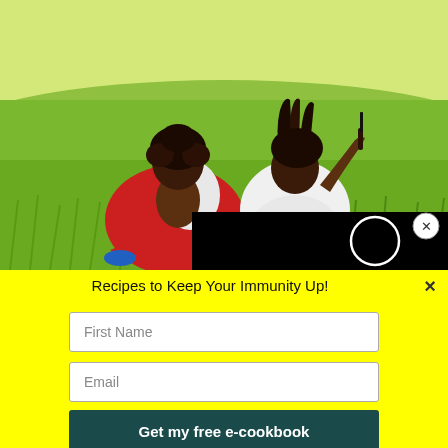[Figure (photo): Two children sitting on green grass, seen from behind. The child on the left wears a red outfit and has curly hair. The child on the right wears white and has braids, with one arm raised holding an object. They appear to be playing outdoors on a lawn.]
Recipes to Keep Your Immunity Up!
First Name
Email
Get my free e-cookbook